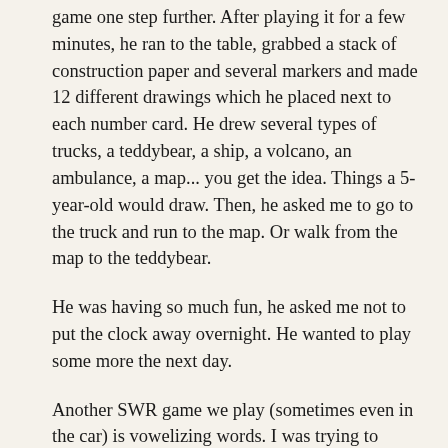game one step further. After playing it for a few minutes, he ran to the table, grabbed a stack of construction paper and several markers and made 12 different drawings which he placed next to each number card. He drew several types of trucks, a teddybear, a ship, a volcano, an ambulance, a map... you get the idea. Things a 5-year-old would draw. Then, he asked me to go to the truck and run to the map. Or walk from the map to the teddybear.
He was having so much fun, he asked me not to put the clock away overnight. He wanted to play some more the next day.
Another SWR game we play (sometimes even in the car) is vowelizing words. I was trying to teach them to count the syllables in a word, but found that they started prolonging vowels and so they would end up with extra claps and extra syllables.